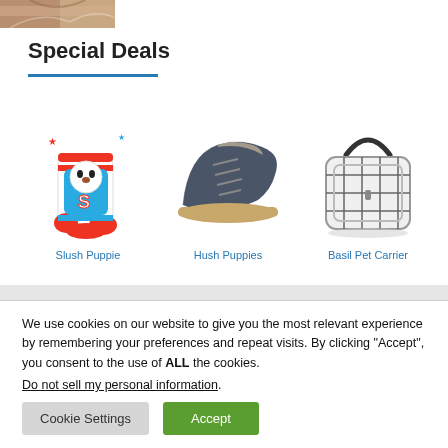[Figure (photo): Partial product image cropped at top of page]
Special Deals
[Figure (illustration): Slush Puppie novelty socks with cartoon dog character in red and blue]
[Figure (photo): Hush Puppies dark navy suede chukka boot]
[Figure (illustration): Basil Pet Carrier white wire cage with handle]
Slush Puppie
Hush Puppies
Basil Pet Carrier
We use cookies on our website to give you the most relevant experience by remembering your preferences and repeat visits. By clicking “Accept”, you consent to the use of ALL the cookies.
Do not sell my personal information.